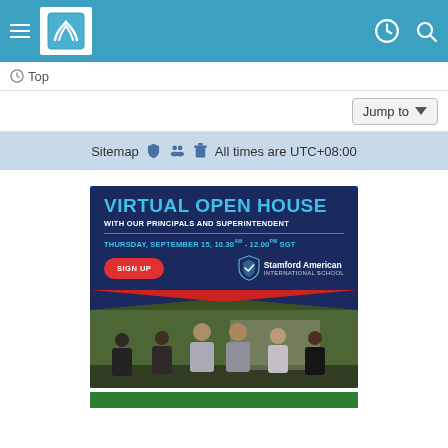Navigation bar with hamburger menu, logo, and icons
Top
Jump to
Sitemap  All times are UTC+08:00
[Figure (illustration): Stamford American International School Virtual Open House advertisement banner. Dark navy background with text: VIRTUAL OPEN HOUSE, WITH OUR PRINCIPALS AND SUPERINTENDENT, THURSDAY, SEPTEMBER 15, 10.30AM - 12.00PM SGT. Red SIGN UP button. Stamford American International School logo. Lower half shows group photo of six educators outdoors.]
[Figure (photo): Partial green strip at the bottom of the page, part of another advertisement or section.]